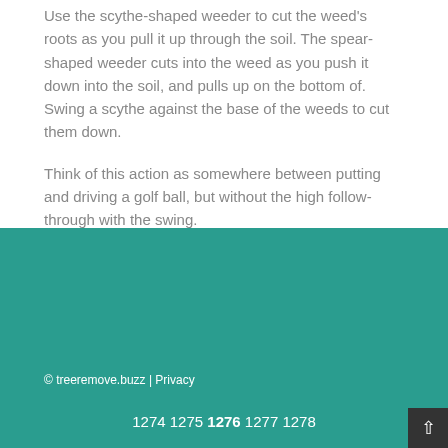Use the scythe-shaped weeder to cut the weed's roots as you pull it up through the soil. The spear-shaped weeder cuts into the weed as you push it down into the soil, and pulls up on the bottom of. Swing a scythe against the base of the weeds to cut them down.
Think of this action as somewhere between putting and driving a golf ball, but without the high follow-through with the swing.
© treeremove.buzz | Privacy
1274 1275 1276 1277 1278